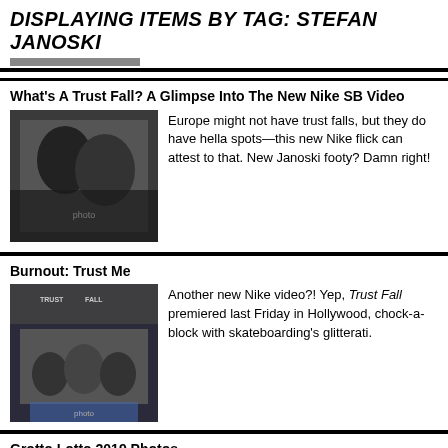DISPLAYING ITEMS BY TAG: STEFAN JANOSKI
What's A Trust Fall? A Glimpse Into The New Nike SB Video
[Figure (photo): Two people laughing together, close up, black and white tones]
Europe might not have trust falls, but they do have hella spots—this new Nike flick can attest to that. New Janoski footy? Damn right!
Burnout: Trust Me
[Figure (photo): Group photo at a movie premiere with Trust Fall banners in background]
Another new Nike video?! Yep, Trust Fall premiered last Friday in Hollywood, chock-a-block with skateboarding's glitterati.
Grotto Lotto 2019 Photos
[Figure (photo): Partial photo at bottom of page]